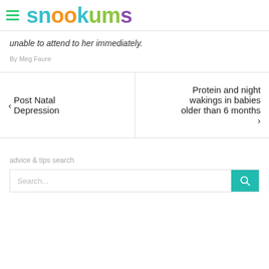snookums
unable to attend to her immediately.
By Meg Faure
< Post Natal Depression
Protein and night wakings in babies older than 6 months >
advice & tips search
Search...